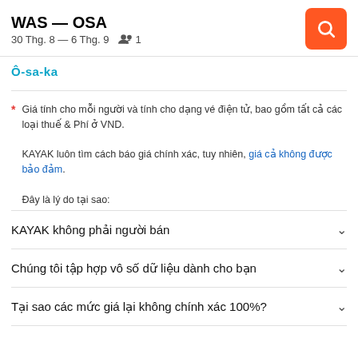WAS — OSA
30 Thg. 8 — 6 Thg. 9   1
Ô-sa-ka
* Giá tính cho mỗi người và tính cho dạng vé điện tử, bao gồm tất cả các loại thuế & Phí ở VND.
KAYAK luôn tìm cách báo giá chính xác, tuy nhiên, giá cả không được bảo đảm.
Đây là lý do tại sao:
KAYAK không phải người bán
Chúng tôi tập hợp vô số dữ liệu dành cho bạn
Tại sao các mức giá lại không chính xác 100%?